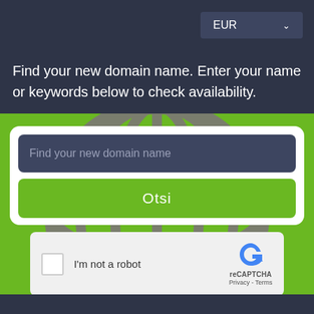[Figure (screenshot): EUR currency selector dropdown button in dark navy UI header]
Find your new domain name. Enter your name or keywords below to check availability.
[Figure (screenshot): Domain name search widget on green background with globe logo, containing a dark input field placeholder 'Find your new domain name', a green 'Otsi' search button, and a reCAPTCHA 'I'm not a robot' checkbox widget below.]